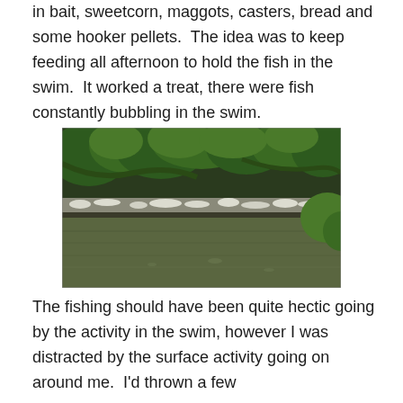in bait, sweetcorn, maggots, casters, bread and some hooker pellets.  The idea was to keep feeding all afternoon to hold the fish in the swim.  It worked a treat, there were fish constantly bubbling in the swim.
[Figure (photo): A river or canal scene showing calm olive-green water in the foreground, a band of white floating debris or lily pads in the middle distance, and dense green overhanging trees along the far bank.]
The fishing should have been quite hectic going by the activity in the swim, however I was distracted by the surface activity going on around me.  I'd thrown a few